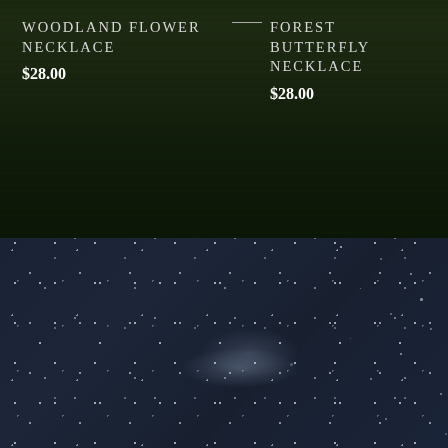Woodland Flower Necklace
$28.00
Forest Butterfly Necklace
$28.00
Home
Shop
About
Chat with us